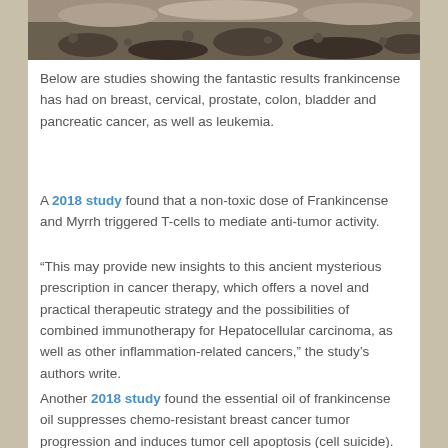[Figure (photo): Outdoor rocky/gravelly scene with stones and debris, partially visible at top of page]
Below are studies showing the fantastic results frankincense has had on breast, cervical, prostate, colon, bladder and pancreatic cancer, as well as leukemia.
A 2018 study found that a non-toxic dose of Frankincense and Myrrh triggered T-cells to mediate anti-tumor activity.
“This may provide new insights to this ancient mysterious prescription in cancer therapy, which offers a novel and practical therapeutic strategy and the possibilities of combined immunotherapy for Hepatocellular carcinoma, as well as other inflammation-related cancers,” the study’s authors write.
Another 2018 study found the essential oil of frankincense oil suppresses chemo-resistant breast cancer tumor progression and induces tumor cell apoptosis (cell suicide).